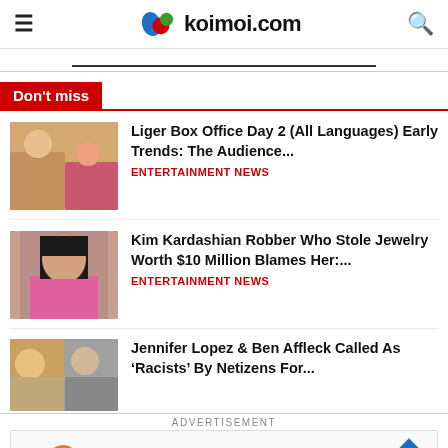koimoi.com
Don't miss
Liger Box Office Day 2 (All Languages) Early Trends: The Audience... ENTERTAINMENT NEWS
Kim Kardashian Robber Who Stole Jewelry Worth $10 Million Blames Her:... ENTERTAINMENT NEWS
Jennifer Lopez & Ben Affleck Called As ‘Racists’ By Netizens For...
ADVERTISEMENT
[Figure (screenshot): Advertisement banner showing In-store shopping with orange plus icon and blue arrow]